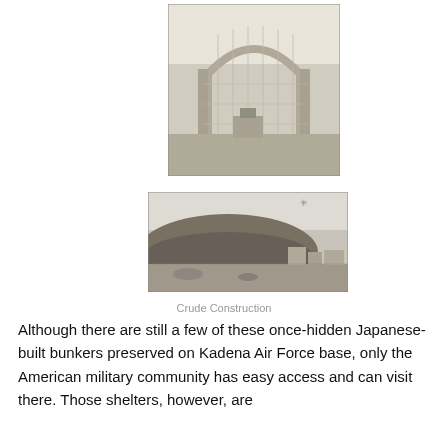[Figure (photo): Black and white photograph of a Japanese-built concrete bunker structure with an arched roof and chain-link fencing, with concrete blocks in the foreground on a grassy area.]
[Figure (photo): Black and white photograph of a large earthen mound or berm, likely covering a bunker, with flat terrain and structures visible in the background.]
Crude Construction
Although there are still a few of these once-hidden Japanese-built bunkers preserved on Kadena Air Force base, only the American military community has easy access and can visit there. Those shelters, however, are